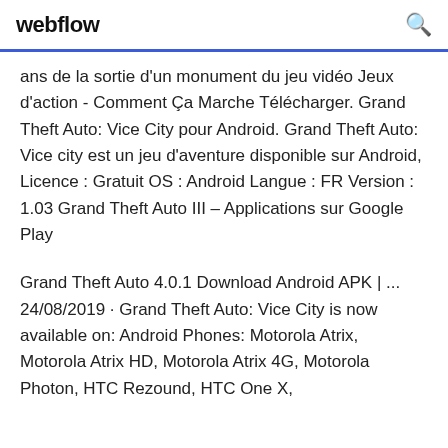webflow
ans de la sortie d'un monument du jeu vidéo Jeux d'action - Comment Ça Marche Télécharger. Grand Theft Auto: Vice City pour Android. Grand Theft Auto: Vice city est un jeu d'aventure disponible sur Android, Licence : Gratuit OS : Android Langue : FR Version : 1.03 Grand Theft Auto III – Applications sur Google Play
Grand Theft Auto 4.0.1 Download Android APK | ... 24/08/2019 · Grand Theft Auto: Vice City is now available on: Android Phones: Motorola Atrix, Motorola Atrix HD, Motorola Atrix 4G, Motorola Photon, HTC Rezound, HTC One X, HTC...